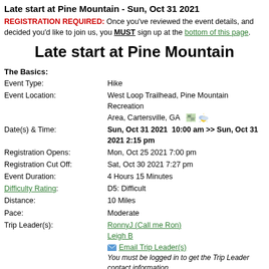Late start at Pine Mountain - Sun, Oct 31 2021
REGISTRATION REQUIRED: Once you've reviewed the event details, and decided you'd like to join us, you MUST sign up at the bottom of this page.
Late start at Pine Mountain
The Basics:
| Field | Value |
| --- | --- |
| Event Type: | Hike |
| Event Location: | West Loop Trailhead, Pine Mountain Recreation Area, Cartersville, GA |
| Date(s) & Time: | Sun, Oct 31 2021  10:00 am >> Sun, Oct 31 2021 2:15 pm |
| Registration Opens: | Mon, Oct 25 2021 7:00 pm |
| Registration Cut Off: | Sat, Oct 30 2021 7:27 pm |
| Event Duration: | 4 Hours 15 Minutes |
| Difficulty Rating: | D5: Difficult |
| Distance: | 10 Miles |
| Pace: | Moderate |
| Trip Leader(s): | RonnyJ (Call me Ron)
Leigh B
Email Trip Leader(s)
You must be logged in to get the Trip Leader contact information |